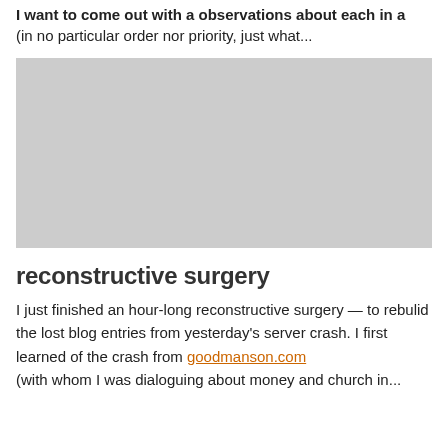I want to come out with a observations about each in a (in no particular order nor priority, just what...
[Figure (photo): Gray placeholder image rectangle]
reconstructive surgery
I just finished an hour-long reconstructive surgery — to rebulid the lost blog entries from yesterday's server crash. I first learned of the crash from goodmanson.com (with whom I was dialoguing about money and church in...